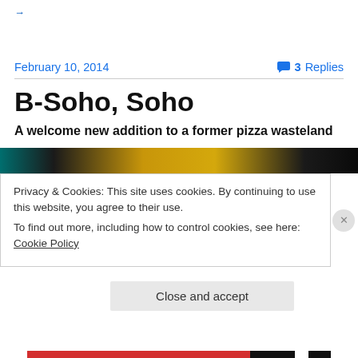→
February 10, 2014
3 Replies
B-Soho, Soho
A welcome new addition to a former pizza wasteland
[Figure (photo): Top strip of a restaurant interior photo showing warm golden lights against a dark ceiling]
Privacy & Cookies: This site uses cookies. By continuing to use this website, you agree to their use.
To find out more, including how to control cookies, see here: Cookie Policy
Close and accept